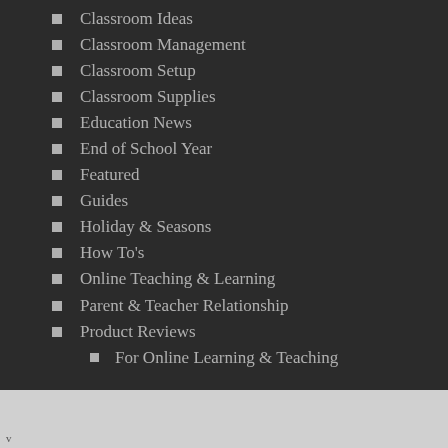Classroom Ideas
Classroom Management
Classroom Setup
Classroom Supplies
Education News
End of School Year
Featured
Guides
Holiday & Seasons
How To's
Online Teaching & Learning
Parent & Teacher Relationship
Product Reviews
For Online Learning & Teaching